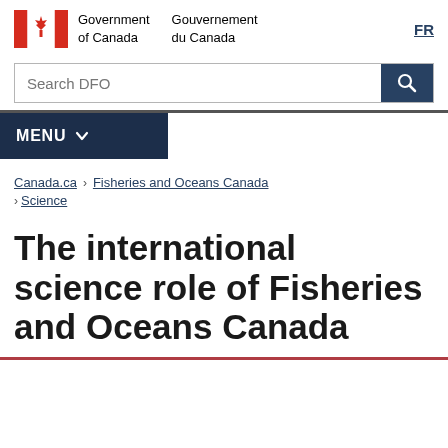Government of Canada / Gouvernement du Canada — FR
Search DFO
MENU
Canada.ca > Fisheries and Oceans Canada > Science
The international science role of Fisheries and Oceans Canada